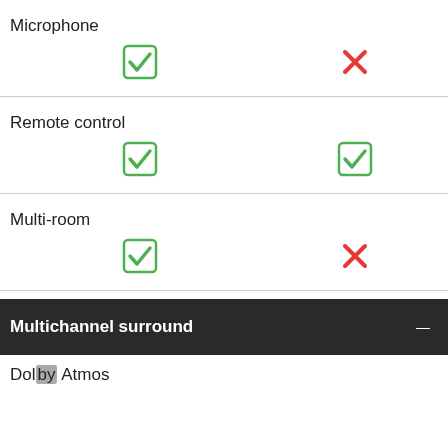Microphone
| ✓ (green check) | ✗ (red cross) |
Remote control
| ✓ (green check) | ✓ (green check) |
Multi-room
| ✓ (green check) | ✗ (red cross) |
Multichannel surround
Dolby Atmos